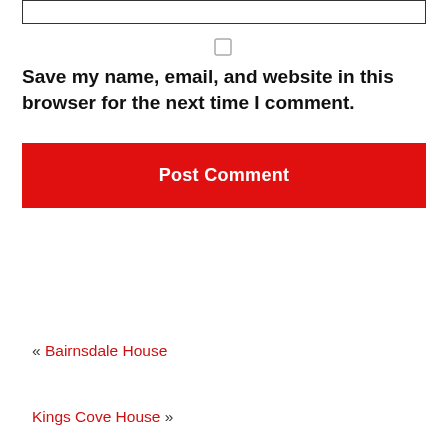[input box]
Save my name, email, and website in this browser for the next time I comment.
Post Comment
« Bairnsdale House
Kings Cove House »